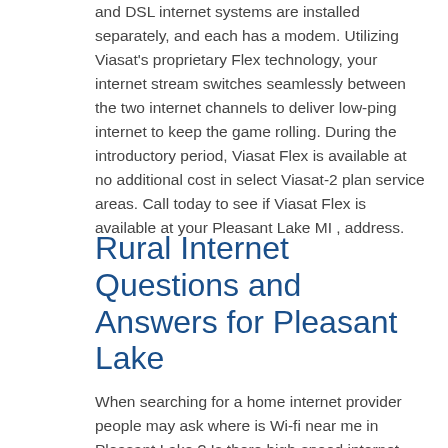and DSL internet systems are installed separately, and each has a modem. Utilizing Viasat's proprietary Flex technology, your internet stream switches seamlessly between the two internet channels to deliver low-ping internet to keep the game rolling. During the introductory period, Viasat Flex is available at no additional cost in select Viasat-2 plan service areas. Call today to see if Viasat Flex is available at your Pleasant Lake MI , address.
Rural Internet Questions and Answers for Pleasant Lake
When searching for a home internet provider people may ask where is Wi-fi near me in Pleasant Lake ? Is there high-speed internet near me? Is there wireless